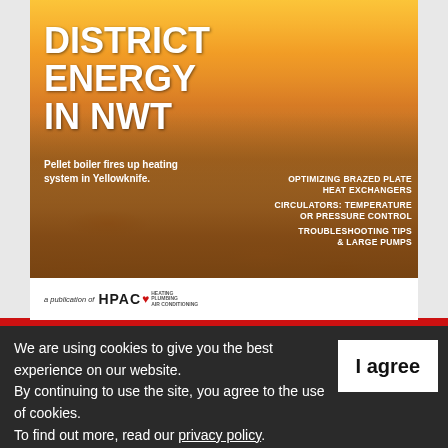[Figure (illustration): Magazine cover of HPAC publication showing wood pellets with fire/flames in background. Title reads 'DISTRICT ENERGY IN NWT' with subtitle 'Pellet boiler fires up heating system in Yellowknife.' Right side lists topics: 'OPTIMIZING BRAZED PLATE HEAT EXCHANGERS', 'CIRCULATORS: TEMPERATURE OR PRESSURE CONTROL', 'TROUBLESHOOTING TIPS & LARGE PUMPS'. Bottom white footer bar shows HPAC logo.]
We are using cookies to give you the best experience on our website. By continuing to use the site, you agree to the use of cookies. To find out more, read our privacy policy.